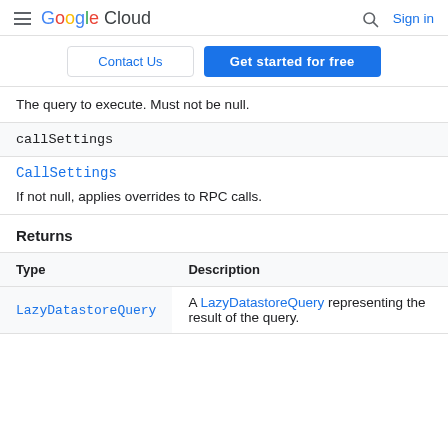Google Cloud  Sign in
Contact Us  Get started for free
The query to execute. Must not be null.
callSettings
CallSettings
If not null, applies overrides to RPC calls.
Returns
| Type | Description |
| --- | --- |
| LazyDatastoreQuery | A LazyDatastoreQuery representing the result of the query. |